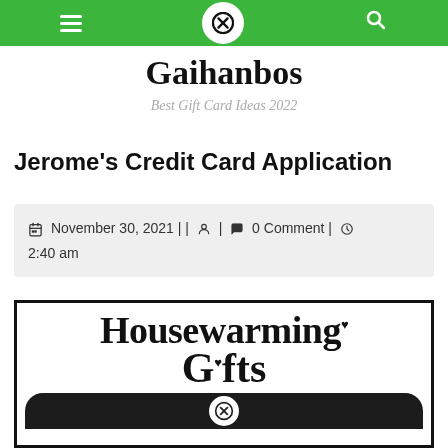Gaihanbos — navigation bar with menu, close, and search icons
Gaihanbos
Best Gift Card Ideas 2022
Jerome's Credit Card Application
November 30, 2021 || [user icon] | [comment icon] 0 Comment | [clock icon] 2:40 am
[Figure (illustration): Housewarming Gifts promotional image with large serif text reading 'Housewarming Gifts' (with heart symbols) and a dark rounded rectangle below containing a circle-X icon, suggesting a video or image thumbnail]